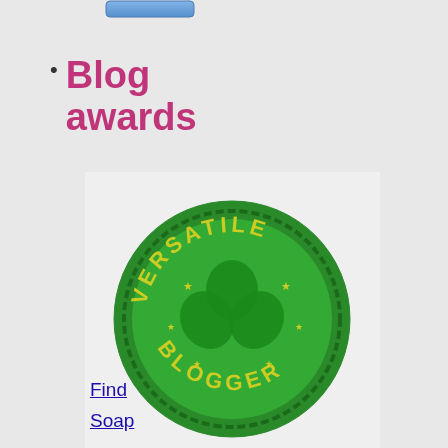[Figure (logo): Small blue rounded button/badge at top]
Blog awards
[Figure (illustration): Versatile Blogger award badge - green circular seal with shamrock/clover design and text VERSATILE BLOGGER]
[Figure (illustration): Best Soap Making Sites & Recipes award image showing pink soap bars tied with twine and a blue ribbon banner, awarded by www.naturesgardencandles.com]
Find
Soap